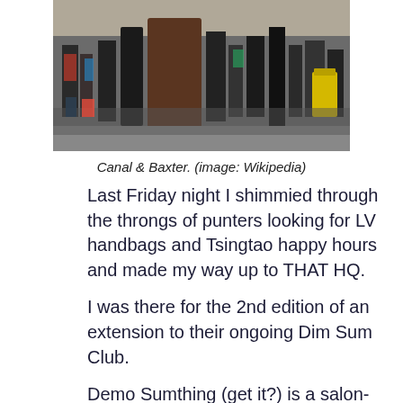[Figure (photo): Crowd of people at a busy outdoor street market or intersection, viewed from behind. A yellow bin is visible on the right side.]
Canal & Baxter. (image: Wikipedia)
Last Friday night I shimmied through the throngs of punters looking for LV handbags and Tsingtao happy hours and made my way up to THAT HQ.
I was there for the 2nd edition of an extension to their ongoing Dim Sum Club.
Demo Sumthing (get it?) is a salon-style event of around 25 people and features a few guest makers sharing their projects for feedback, inspiration and new ideas.
Despite not necessarily identifying as a Creative or Maker, I was demoing the second iteration of